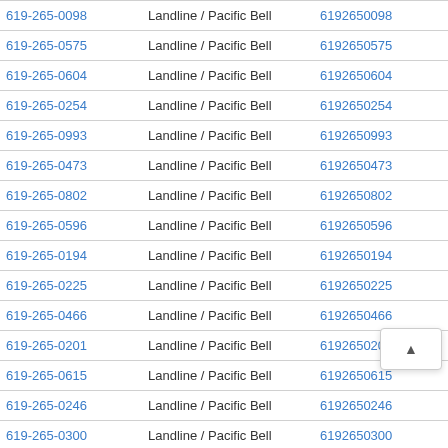| Phone Number | Type / Carrier | Numeric | Action |
| --- | --- | --- | --- |
| 619-265-0098 | Landline / Pacific Bell | 6192650098 | View Results |
| 619-265-0575 | Landline / Pacific Bell | 6192650575 | View Results |
| 619-265-0604 | Landline / Pacific Bell | 6192650604 | View Results |
| 619-265-0254 | Landline / Pacific Bell | 6192650254 | View Results |
| 619-265-0993 | Landline / Pacific Bell | 6192650993 | View Results |
| 619-265-0473 | Landline / Pacific Bell | 6192650473 | View Results |
| 619-265-0802 | Landline / Pacific Bell | 6192650802 | View Results |
| 619-265-0596 | Landline / Pacific Bell | 6192650596 | View Results |
| 619-265-0194 | Landline / Pacific Bell | 6192650194 | View Results |
| 619-265-0225 | Landline / Pacific Bell | 6192650225 | View Results |
| 619-265-0466 | Landline / Pacific Bell | 6192650466 | View Results |
| 619-265-0201 | Landline / Pacific Bell | 6192650201 | View Results |
| 619-265-0615 | Landline / Pacific Bell | 6192650615 | View Results |
| 619-265-0246 | Landline / Pacific Bell | 6192650246 | View Results |
| 619-265-0300 | Landline / Pacific Bell | 6192650300 | View Results |
| 619-265-0888 | Landline / Pacific Bell | 6192650888 | View Results |
| 619-265-0886 | Landline / Pacific Bell | 6192650886 | View Results |
| 619-265-0897 | Landline / Pacific Bell | 6192650897 | View Results |
| 619-265-0371 | Landline / Pacific Bell | 6192650371 | View Results |